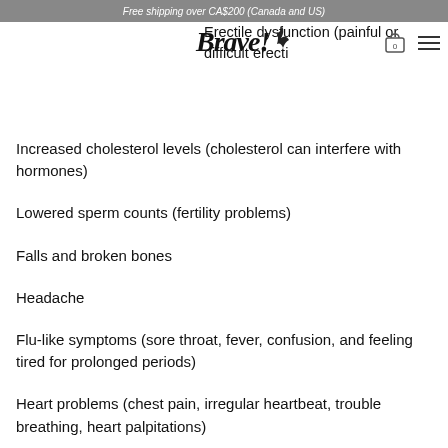Free shipping over CA$200 (Canada and US)
Erectile dysfunction (painful or difficult erecti…
[Figure (logo): Brave! logo with feather icon]
Increased cholesterol levels (cholesterol can interfere with hormones)
Lowered sperm counts (fertility problems)
Falls and broken bones
Headache
Flu-like symptoms (sore throat, fever, confusion, and feeling tired for prolonged periods)
Heart problems (chest pain, irregular heartbeat, trouble breathing, heart palpitations)
Increased blood pressure (narrowing of the